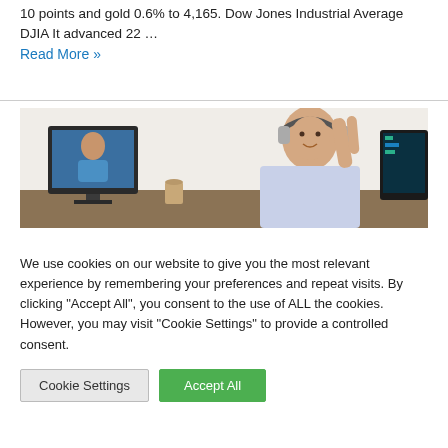10 points and gold 0.6% to 4,165. Dow Jones Industrial Average DJIA It advanced 22 …
Read More »
[Figure (photo): A man wearing headphones waving at a woman on a computer monitor during a video call, seated at a desk in a bright office environment.]
We use cookies on our website to give you the most relevant experience by remembering your preferences and repeat visits. By clicking "Accept All", you consent to the use of ALL the cookies. However, you may visit "Cookie Settings" to provide a controlled consent.